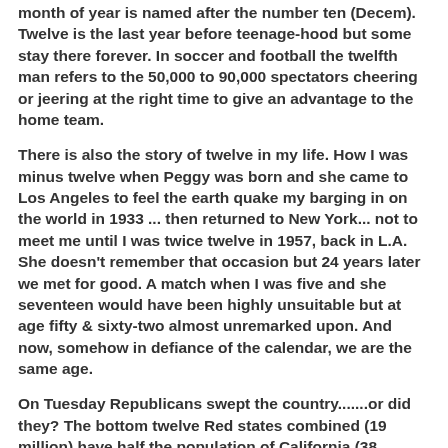...however a Bank's dozen is thirteen and the twelfth month of year is named after the number ten (Decem). Twelve is the last year before teenage-hood but some stay there forever. In soccer and football the twelfth man refers to the 50,000 to 90,000 spectators cheering or jeering at the right time to give an advantage to the home team.
There is also the story of twelve in my life. How I was minus twelve when Peggy was born and she came to Los Angeles to feel the earth quake my barging in on the world in 1933 ... then returned to New York... not to meet me until I was twice twelve in 1957, back in L.A. She doesn't remember that occasion but 24 years later we met for good. A match when I was five and she seventeen would have been highly unsuitable but at age fifty & sixty-two almost unremarked upon. And now, somehow in defiance of the calendar, we are the same age.
On Tuesday Republicans swept the country.......or did they? The bottom twelve Red states combined (19 million) have half the population of California (38...